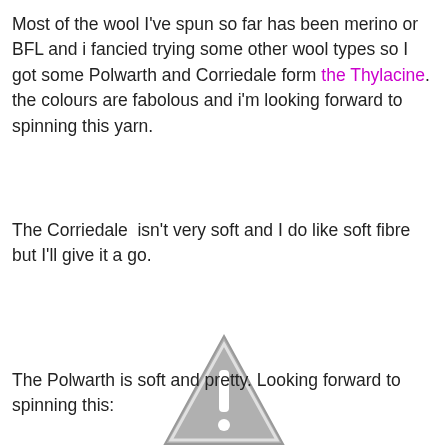Most of the wool I've spun so far has been merino or BFL and i fancied trying some other wool types so I got some Polwarth and Corriedale form the Thylacine.  the colours are fabolous and i'm looking forward to spinning this yarn.
The Corriedale  isn't very soft and I do like soft fibre but I'll give it a go.
[Figure (other): Warning triangle icon with exclamation mark, gray color]
The Polwarth is soft and pretty. Looking forward to spinning this: